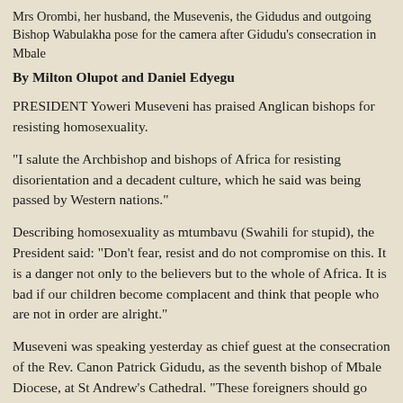Mrs Orombi, her husband, the Musevenis, the Gidudus and outgoing Bishop Wabulakha pose for the camera after Gidudu's consecration in Mbale
By Milton Olupot and Daniel Edyegu
PRESIDENT Yoweri Museveni has praised Anglican bishops for resisting homosexuality.
“I salute the Archbishop and bishops of Africa for resisting disorientation and a decadent culture, which he said was being passed by Western nations.”
Describing homosexuality as mtumbavu (Swahili for stupid), the President said: “Don’t fear, resist and do not compromise on this. It is a danger not only to the believers but to the whole of Africa. It is bad if our children become complacent and think that people who are not in order are alright.”
Museveni was speaking yesterday as chief guest at the consecration of the Rev. Canon Patrick Gidudu, as the seventh bishop of Mbale Diocese, at St Andrew’s Cathedral. “These foreigners should go and practice their nonsense elsewhere…